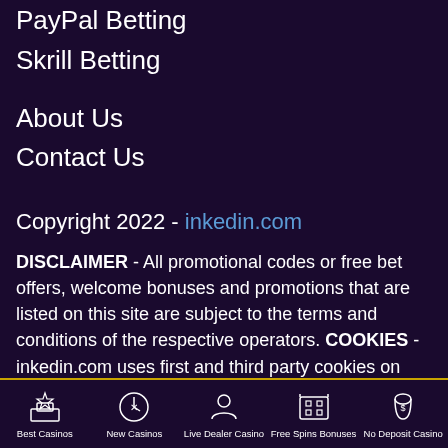PayPal Betting
Skrill Betting
About Us
Contact Us
Copyright 2022 - inkedin.com
DISCLAIMER - All promotional codes or free bet offers, welcome bonuses and promotions that are listed on this site are subject to the terms and conditions of the respective operators. COOKIES - inkedin.com uses first and third party cookies on your computer to enhance this site and provide
Best Casinos | New Casinos | Live Dealer Casino | Free Spins Bonuses | No Deposit Casino